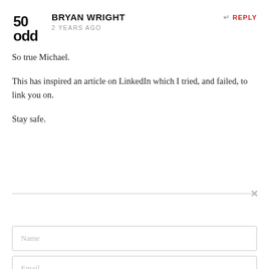[Figure (logo): 50odd logo — stylized '50' above 'odd' in bold black serif/display font]
BRYAN WRIGHT
2 YEARS AGO
REPLY
So true Michael.
This has inspired an article on LinkedIn which I tried, and failed, to link you on.
Stay safe.